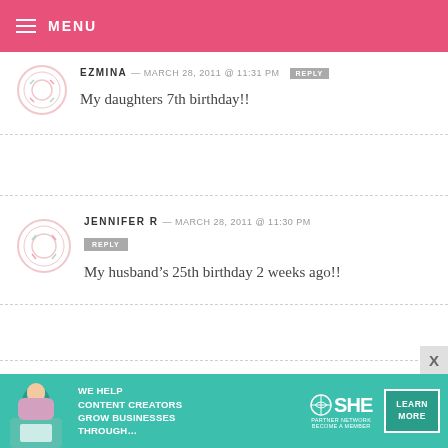MENU
EZMINA — MARCH 28, 2011 @ 11:31 PM  REPLY
My daughters 7th birthday!!
JENNIFER R — MARCH 28, 2011 @ 11:30 PM  REPLY
My husband's 25th birthday 2 weeks ago!!
SHANTI — MARCH 28, 2011 @ 11:30 PM  REPLY
[Figure (infographic): Advertisement banner: SHE Partner Network - We help content creators grow businesses through... Learn More]